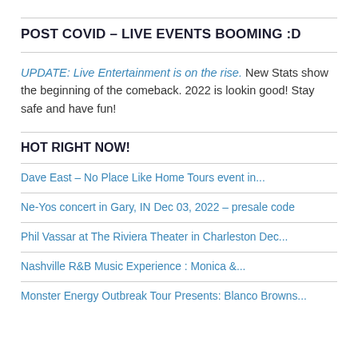POST COVID – LIVE EVENTS BOOMING :D
UPDATE: Live Entertainment is on the rise. New Stats show the beginning of the comeback. 2022 is lookin good! Stay safe and have fun!
HOT RIGHT NOW!
Dave East – No Place Like Home Tours event in...
Ne-Yos concert in Gary, IN Dec 03, 2022 – presale code
Phil Vassar at The Riviera Theater in Charleston Dec...
Nashville R&B Music Experience : Monica &...
Monster Energy Outbreak Tour Presents: Blanco Browns...